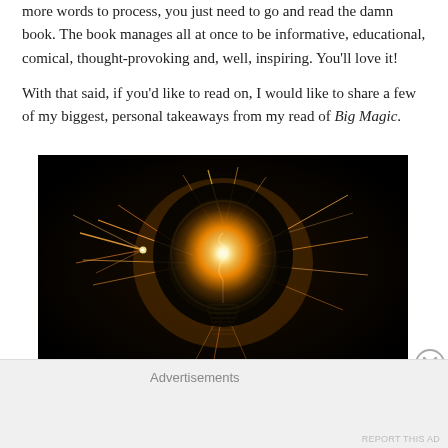more words to process, you just need to go and read the damn book. The book manages all at once to be informative, educational, comical, thought-provoking and, well, inspiring. You'll love it!
With that said, if you'd like to read on, I would like to share a few of my biggest, personal takeaways from my read of Big Magic.
[Figure (photo): A glowing light bulb surrounded by sparkler sparks against a black background, creating a dramatic illuminated effect.]
Advertisements